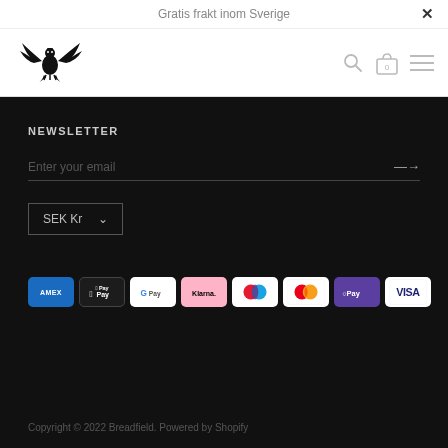Gratis frakt inom Sverige
[Figure (logo): Breadfield eagle heraldic logo in black]
NEWSLETTER
Enter your email
SEK Kr
[Figure (infographic): Payment method icons: AMEX, Apple Pay, G Pay, Klarna, Maestro, Mastercard, OPay, VISA]
Copyright © 2022 Breadfield. Powered by Shopify